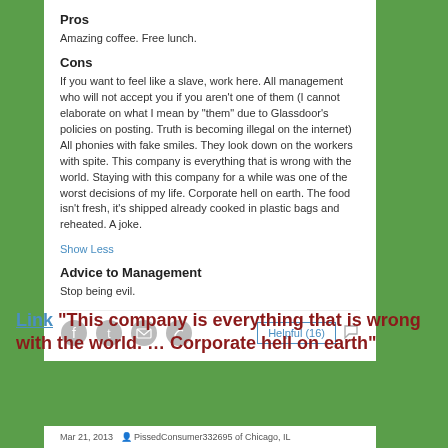Pros
Amazing coffee. Free lunch.
Cons
If you want to feel like a slave, work here. All management who will not accept you if you aren't one of them (I cannot elaborate on what I mean by "them" due to Glassdoor's policies on posting. Truth is becoming illegal on the internet) All phonies with fake smiles. They look down on the workers with spite. This company is everything that is wrong with the world. Staying with this company for a while was one of the worst decisions of my life. Corporate hell on earth. The food isn't fresh, it's shipped already cooked in plastic bags and reheated. A joke.
Show Less
Advice to Management
Stop being evil.
Helpful (16)
Link "This company is everything that is wrong with the world. … Corporate hell on earth"
Mar 21, 2013   PissedConsumer332695 of Chicago, IL